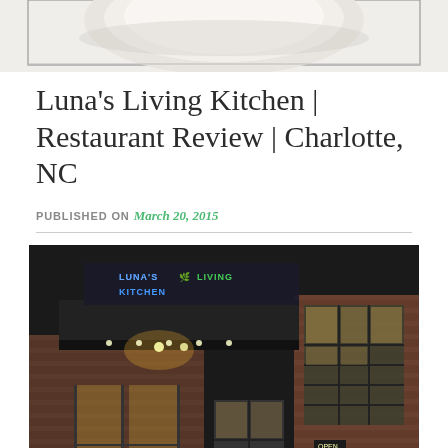[Figure (photo): Top partial photo showing a light-colored plate/bowl, cropped at top of page]
Luna’s Living Kitchen | Restaurant Review | Charlotte, NC
PUBLISHED ON March 20, 2015
[Figure (photo): Night-time exterior photo of Luna's Living Kitchen restaurant showing brick building with illuminated sign reading LUNA'S LIVING KITCHEN, large industrial windows, and warm lighting at entrance]